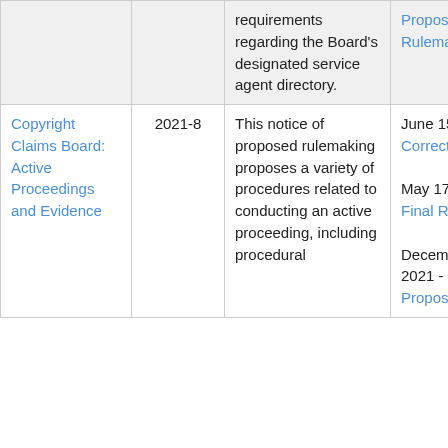|  |  | Description | Dates/Links |
| --- | --- | --- | --- |
|  |  | requirements regarding the Board's designated service agent directory. | Proposed Rulemaking |
| Copyright Claims Board: Active Proceedings and Evidence | 2021-8 | This notice of proposed rulemaking proposes a variety of procedures related to conducting an active proceeding, including procedural | June 15, 2022 - Correction

May 17, 2022 - Final Rule

December 8, 2021 - Notice of Proposed |